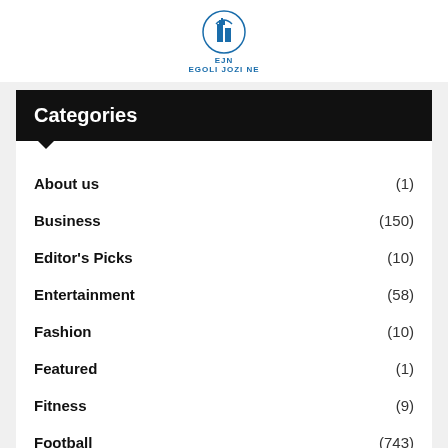EJN EGOLI JOZI NE
Categories
About us (1)
Business (150)
Editor's Picks (10)
Entertainment (58)
Fashion (10)
Featured (1)
Fitness (9)
Football (743)
Gadgets/Technology
Headlines (517)